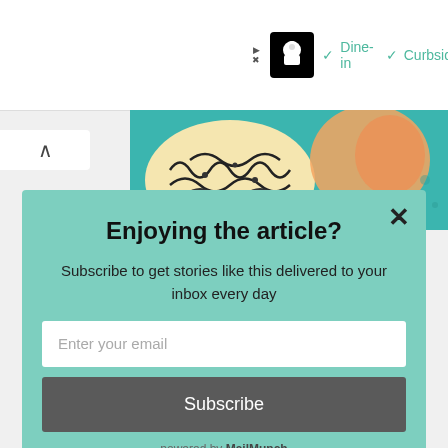[Figure (screenshot): Ad banner at top: restaurant logo (chef icon), checkmarks for Dine-in and Curbside options]
[Figure (illustration): Colorful illustrated article header image showing decorative food/brain artwork on teal background]
Enjoying the article?
Subscribe to get stories like this delivered to your inbox every day
Enter your email
Subscribe
powered by MailMunch